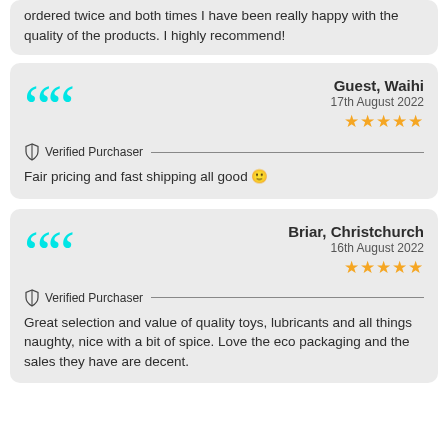ordered twice and both times I have been really happy with the quality of the products. I highly recommend!
Guest, Waihi
17th August 2022
★★★★★
Verified Purchaser
Fair pricing and fast shipping all good 🙂
Briar, Christchurch
16th August 2022
★★★★★
Verified Purchaser
Great selection and value of quality toys, lubricants and all things naughty, nice with a bit of spice. Love the eco packaging and the sales they have are decent.